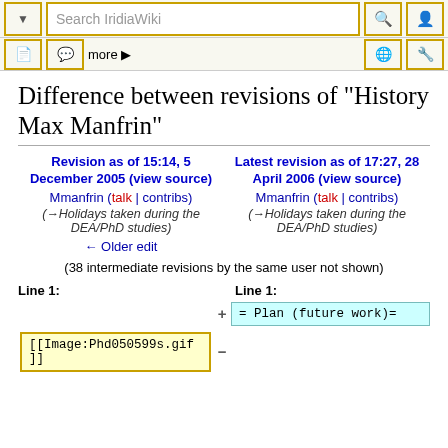Search IridiaWiki
Difference between revisions of "History Max Manfrin"
Revision as of 15:14, 5 December 2005 (view source)
Mmanfrin (talk | contribs)
(→Holidays taken during the DEA/PhD studies)
← Older edit
Latest revision as of 17:27, 28 April 2006 (view source)
Mmanfrin (talk | contribs)
(→Holidays taken during the DEA/PhD studies)
(38 intermediate revisions by the same user not shown)
| Line 1: | Line 1: |
| --- | --- |
| [[Image:Phd050599s.gif
]] | = Plan (future work)= |